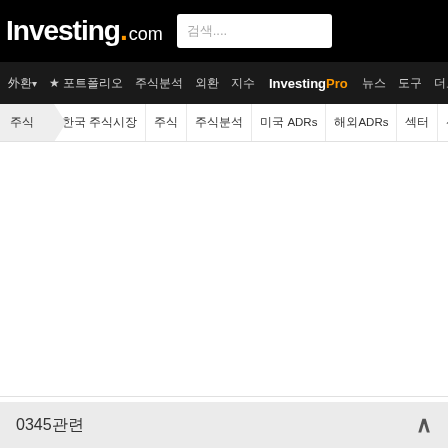Investing.com
검색.... | 주식 | 포트폴리오 | 주식분석 | 외환 | 지수 | InvestingPro | 뉴스 | 도구 | 더보기
주식 › 한국 주식시장 | 주식 | 주식분석 | 미국 ADRs | 해외ADRs | 섹터 | 선물 | 옵션 | 뉴스 | 배당
하나금융지주 (0345
0345관련